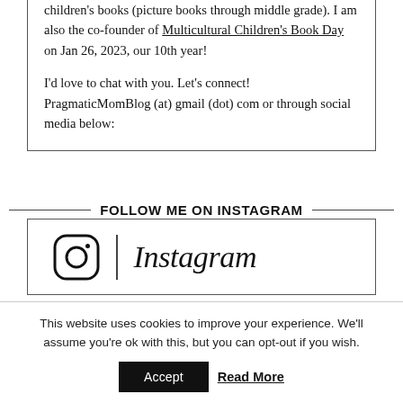children's books (picture books through middle grade). I am also the co-founder of Multicultural Children's Book Day on Jan 26, 2023, our 10th year!
I'd love to chat with you. Let's connect! PragmaticMomBlog (at) gmail (dot) com or through social media below:
FOLLOW ME ON INSTAGRAM
[Figure (logo): Instagram logo: camera icon followed by vertical divider and Instagram wordmark in italic script]
This website uses cookies to improve your experience. We'll assume you're ok with this, but you can opt-out if you wish.
Accept   Read More